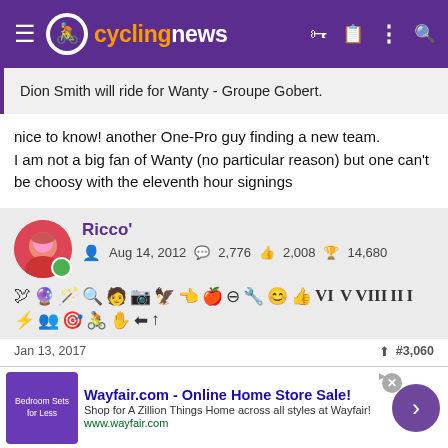cyclingnews
Dion Smith will ride for Wanty - Groupe Gobert.
nice to know! another One-Pro guy finding a new team.
I am not a big fan of Wanty (no particular reason) but one can't be choosy with the eleventh hour signings
Ricco' | Aug 14, 2012 | 2,776 | 2,008 | 14,680
Jan 13, 2017 | #3,060
[Figure (screenshot): Wayfair.com advertisement: Online Home Store Sale! Shop for A Zillion Things Home across all styles at Wayfair! www.wayfair.com]